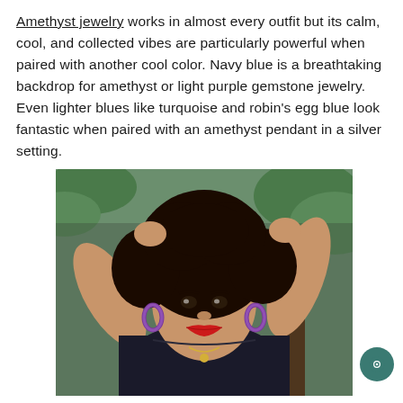Amethyst jewelry works in almost every outfit but its calm, cool, and collected vibes are particularly powerful when paired with another cool color. Navy blue is a breathtaking backdrop for amethyst or light purple gemstone jewelry. Even lighter blues like turquoise and robin's egg blue look fantastic when paired with an amethyst pendant in a silver setting.
[Figure (photo): A woman with curly hair wearing purple amethyst hoop earrings and a necklace, dressed in a black top, with red lipstick, posing outdoors with hands raised to her hair. Background shows green foliage and wooden railing.]